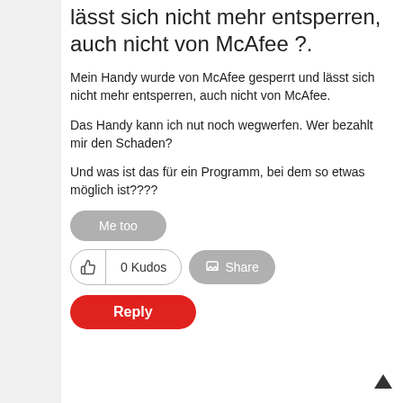lässt sich nicht mehr entsperren, auch nicht von McAfee ?.
Mein Handy wurde von McAfee gesperrt und lässt sich nicht mehr entsperren, auch nicht von McAfee.
Das Handy kann ich nut noch wegwerfen. Wer bezahlt mir den Schaden?
Und was ist das für ein Programm, bei dem so etwas möglich ist????